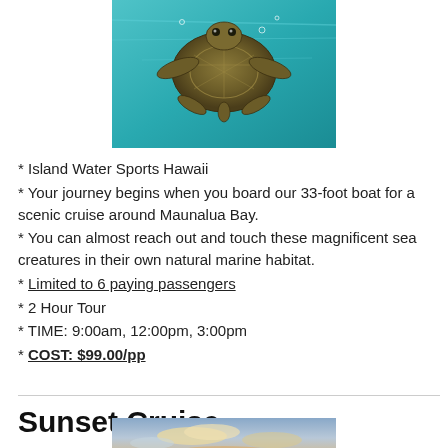[Figure (photo): A sea turtle swimming underwater in turquoise/blue water, viewed from slightly below, occupying the top-center of the page.]
* Island Water Sports Hawaii
* Your journey begins when you board our 33-foot boat for a scenic cruise around Maunalua Bay.
* You can almost reach out and touch these magnificent sea creatures in their own natural marine habitat.
* Limited to 6 paying passengers
* 2 Hour Tour
* TIME: 9:00am, 12:00pm, 3:00pm
* COST: $99.00/pp
Sunset Cruise
[Figure (photo): A partial view of a sunset scene with clouds and warm sky tones, cropped at the bottom of the page.]